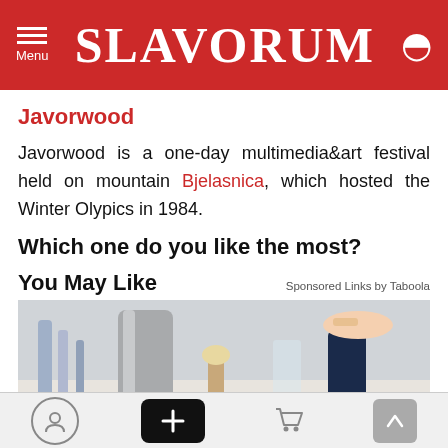SLAVORUM
Javorwood
Javorwood is a one-day multimedia&art festival held on mountain Bjelasnica, which hosted the Winter Olypics in 1984.
Which one do you like the most?
You May Like
Sponsored Links by Taboola
[Figure (photo): A hand pouring liquid from a dark bottle near a sink, with cleaning brushes and utensils visible in the background.]
Navigation bar with user icon, plus button, cart icon, and up arrow button